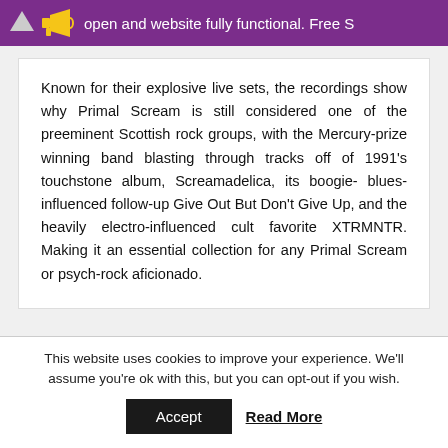open and website fully functional. Free S
Known for their explosive live sets, the recordings show why Primal Scream is still considered one of the preeminent Scottish rock groups, with the Mercury-prize winning band blasting through tracks off of 1991's touchstone album, Screamadelica, its boogie- blues-influenced follow-up Give Out But Don't Give Up, and the heavily electro-influenced cult favorite XTRMNTR. Making it an essential collection for any Primal Scream or psych-rock aficionado.
This website uses cookies to improve your experience. We'll assume you're ok with this, but you can opt-out if you wish.